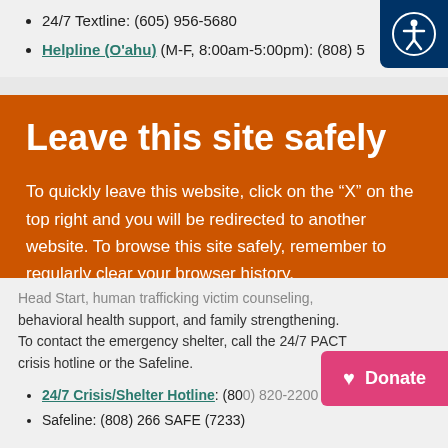24/7 Textline: (605) 956-5680
Helpline (O'ahu) (M-F, 8:00am-5:00pm): (808) 5...
Leave this site safely
To quickly leave this website, click on the “X” on the top right and you will be redirected to another website. To browse this site safely, remember to regularly clear your browser history.
CLOSE
Head Start, human trafficking victim counseling, behavioral health support, and family strengthening. To contact the emergency shelter, call the 24/7 PACT crisis hotline or the Safeline.
24/7 Crisis/Shelter Hotline: (800) 820-2200
Safeline: (808) 266 SAFE (7233)